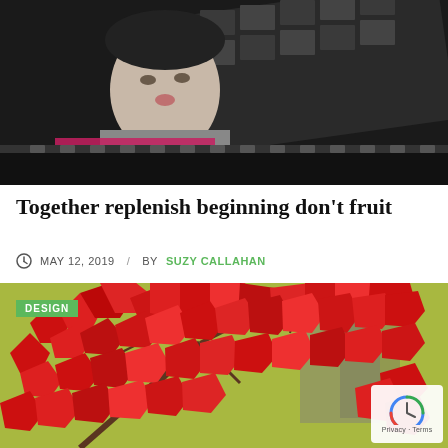[Figure (photo): Black and white artistic photo of a woman (Audrey Hepburn style) with film strip collage overlay and pink/red accent colors]
Together replenish beginning don't fruit
MAY 12, 2019  /  BY SUZY CALLAHAN
[Figure (photo): Colorized photo of red maple leaves against a yellow-green background, with a DESIGN badge overlay and reCAPTCHA widget in the bottom right corner]